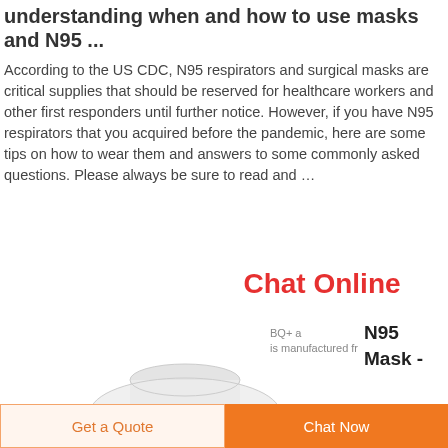understanding when and how to use masks and N95 ...
According to the US CDC, N95 respirators and surgical masks are critical supplies that should be reserved for healthcare workers and other first responders until further notice. However, if you have N95 respirators that you acquired before the pandemic, here are some tips on how to wear them and answers to some commonly asked questions. Please always be sure to read and ...
Chat Online
BQ+ a
is manufactured fr
N95 Mask -
[Figure (photo): N95 mask product image showing a white cup-shaped N95 respirator mask]
Get a Quote
Chat Now